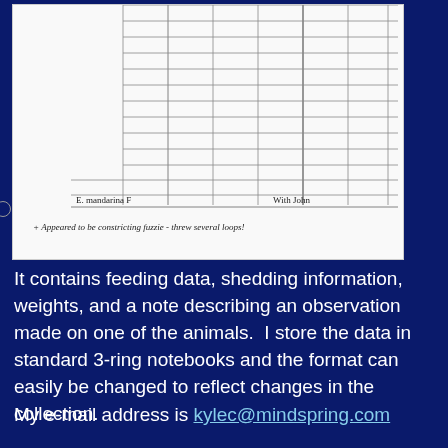[Figure (photo): A notebook page showing a grid/table with handwritten entries. One row is labeled 'E. mandarina F' and 'With John'. Below the table is a handwritten note: '+ Appeared to be constricting fuzzie - threw several loops!']
It contains feeding data, shedding information, weights, and a note describing an observation made on one of the animals.  I store the data in standard 3-ring notebooks and the format can easily be changed to reflect changes in the collection.
My e-mail address is kylec@mindspring.com